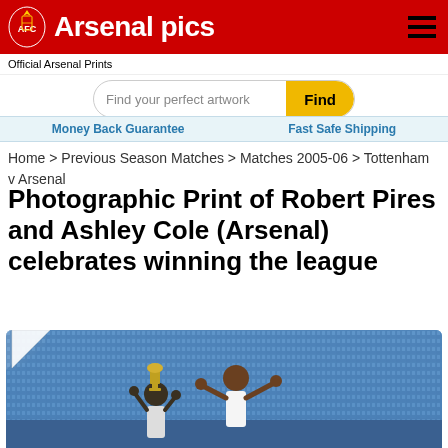Arsenal pics — Official Arsenal Prints
Find your perfect artwork
Money Back Guarantee | Fast Safe Shipping
Home > Previous Season Matches > Matches 2005-06 > Tottenham v Arsenal
Photographic Print of Robert Pires and Ashley Cole (Arsenal) celebrates winning the league
[Figure (photo): Photo of Robert Pires and Ashley Cole celebrating winning the league, holding a trophy aloft in a stadium with blue seats]